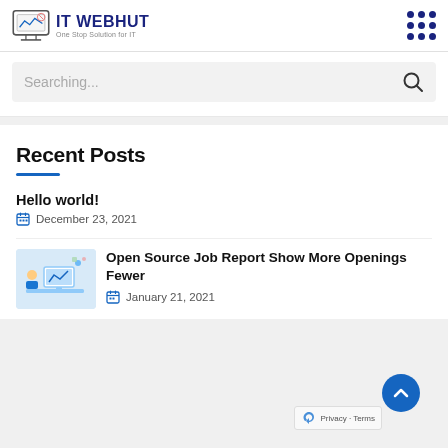IT WEBHUT — One Stop Solution for IT
Searching...
Recent Posts
Hello world!
December 23, 2021
[Figure (illustration): Person working at computer desk illustration]
Open Source Job Report Show More Openings Fewer
January 21, 2021